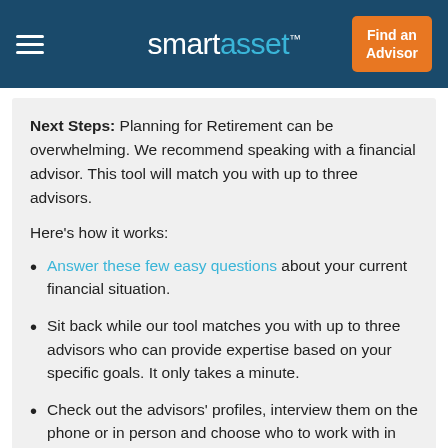smartasset™ — Find an Advisor
Next Steps: Planning for Retirement can be overwhelming. We recommend speaking with a financial advisor. This tool will match you with up to three advisors.
Here's how it works:
Answer these few easy questions about your current financial situation.
Sit back while our tool matches you with up to three advisors who can provide expertise based on your specific goals. It only takes a minute.
Check out the advisors' profiles, interview them on the phone or in person and choose who to work with in the future.